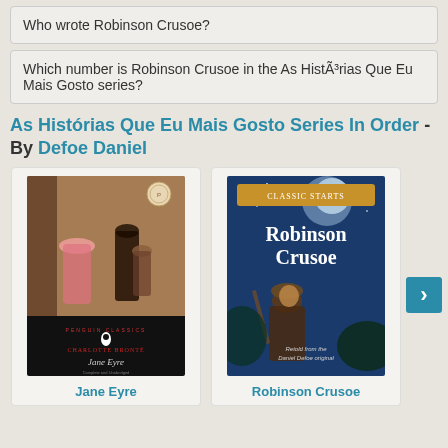Who wrote Robinson Crusoe?
Which number is Robinson Crusoe in the As Histó³rias Que Eu Mais Gosto series?
As Histórias Que Eu Mais Gosto Series In Order - By Defoe Daniel
[Figure (illustration): Book cover of Jane Eyre by Charlotte Brontë (Penguin Classics edition) showing a painting of figures in period dress]
Jane Eyre
[Figure (illustration): Book cover of Robinson Crusoe (Classic Starts edition) showing a man looking up against a blue night sky]
Robinson Crusoe